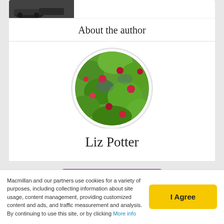[Figure (photo): Partial view of a photo card at top of page showing a dark image with a car]
About the author
[Figure (photo): Circular avatar photo showing green foliage and red flowers]
Liz Potter
View all posts
Macmillan and our partners use cookies for a variety of purposes, including collecting information about site usage, content management, providing customized content and ads, and traffic measurement and analysis. By continuing to use this site, or by clicking More info